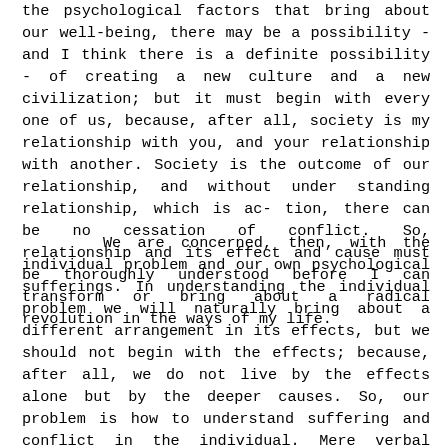the psychological factors that bring about our well-being, there may be a possibility - and I think there is a definite possibility - of creating a new culture and a new civilization; but it must begin with every one of us, because, after all, society is my relationship with you, and your relationship with another. Society is the outcome of our relationship, and without under standing relationship, which is ac- tion, there can be no cessation of conflict. So, relationship and its effect and cause must be thoroughly understood before I can transform or bring about a radical revolution in the ways of my life.
We are concerned, then, with the individual problem and our own psychological sufferings. In understanding the individual problem we will naturally bring about a different arrangement in its effects, but we should not begin with the effects; because, after all, we do not live by the effects alone but by the deeper causes. So, our problem is how to understand suffering and conflict in the individual. Mere verbal explanation of suffering, mere intellection, the perception of the causes of suffering, does not resolve suffering. That is an obvious fact; but as most of us are fed on words, and as words have become of such immense importance, we are easily satisfied by explanations. We read the Bhagavad Gita, the Bible, or any other religious book which